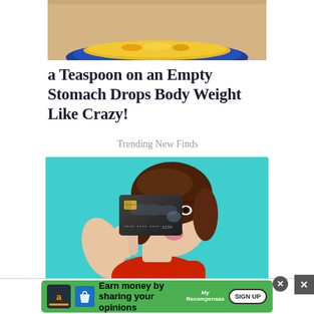[Figure (photo): Top partial photo showing a blue bowl with yellow/orange contents (turmeric or similar spice), cropped at the top of the page]
a Teaspoon on an Empty Stomach Drops Body Weight Like Crazy!
Trending New Finds
[Figure (photo): Woman with brown hair holding a dark credit card in front of one eye, making a kissing face, against a teal/turquoise background, wearing a red top]
[Figure (other): Advertisement banner: green background with Amazon icon, text 'Earn money by sharing your opinions', MyRecompensas branding, and SIGN UP button. Has close (X) buttons.]